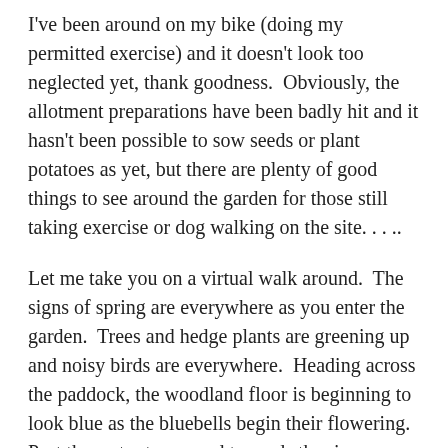I've been around on my bike (doing my permitted exercise) and it doesn't look too neglected yet, thank goodness.  Obviously, the allotment preparations have been badly hit and it hasn't been possible to sow seeds or plant potatoes as yet, but there are plenty of good things to see around the garden for those still taking exercise or dog walking on the site. . . ..
Let me take you on a virtual walk around.  The signs of spring are everywhere as you enter the garden.  Trees and hedge plants are greening up and noisy birds are everywhere.  Heading across the paddock, the woodland floor is beginning to look blue as the bluebells begin their flowering.  Past the water tower and towards the river, you can see how quickly the daffodils have gone over but the bluebells are beginning to take their place as show stoppers.  Looking beyond the river, you can still see small lakes – remnants of the